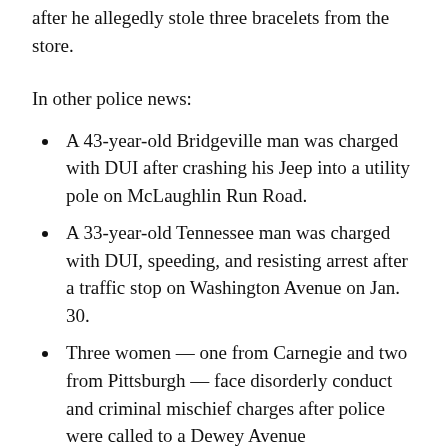after he allegedly stole three bracelets from the store.
In other police news:
A 43-year-old Bridgeville man was charged with DUI after crashing his Jeep into a utility pole on McLaughlin Run Road.
A 33-year-old Tennessee man was charged with DUI, speeding, and resisting arrest after a traffic stop on Washington Avenue on Jan. 30.
Three women — one from Carnegie and two from Pittsburgh — face disorderly conduct and criminal mischief charges after police were called to a Dewey Avenue